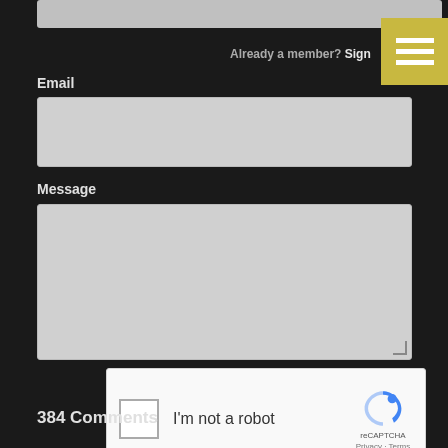[Figure (screenshot): Top portion of a web form with a grey input field at the top (partially cropped)]
Already a member? Sign in
Email
[Figure (screenshot): Email input field (grey background)]
Message
[Figure (screenshot): Message textarea (grey background) with resize handle]
[Figure (screenshot): reCAPTCHA widget with checkbox, 'I'm not a robot' text, and Google reCAPTCHA logo with Privacy and Terms links]
[Figure (screenshot): Post Comment button (grey)]
384 Comments